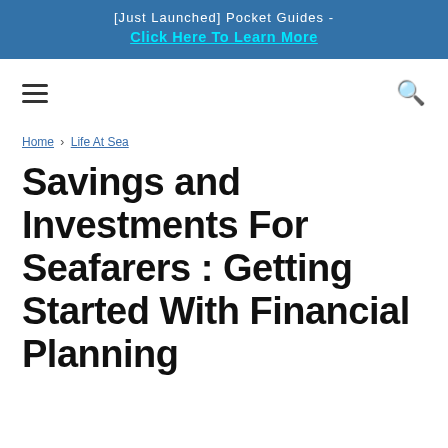[Just Launched] Pocket Guides - Click Here To Learn More
Home › Life At Sea
Savings and Investments For Seafarers : Getting Started With Financial Planning